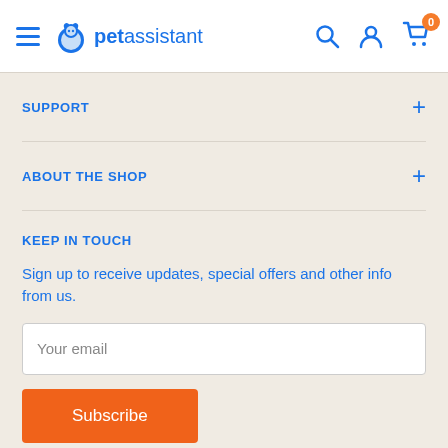petassistant — navigation header with hamburger menu, logo, search, account, and cart icons (badge: 0)
SUPPORT
ABOUT THE SHOP
KEEP IN TOUCH
Sign up to receive updates, special offers and other info from us.
Your email
Subscribe